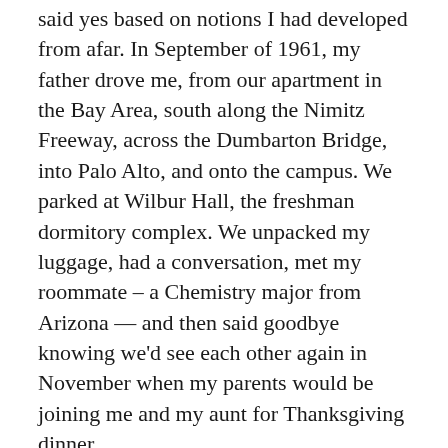said yes based on notions I had developed from afar. In September of 1961, my father drove me, from our apartment in the Bay Area, south along the Nimitz Freeway, across the Dumbarton Bridge, into Palo Alto, and onto the campus. We parked at Wilbur Hall, the freshman dormitory complex. We unpacked my luggage, had a conversation, met my roommate – a Chemistry major from Arizona — and then said goodbye knowing we'd see each other again in November when my parents would be joining me and my aunt for Thanksgiving dinner.
Left to myself, I joined with the freshman class in getting to know my new surroundings. There were new people to meet from all over the world. There were new kinds of courses, new kinds of class schedules with large blocks of free time, new challenges for self discipline, and new kinds of social groups including fraternities and eating clubs, alumni, residence hall committees, groups organized around extracurricular activities, off campus networks, and